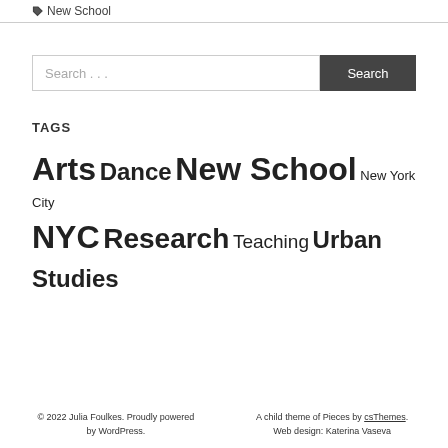New School
Search …
TAGS
Arts Dance New School New York City NYC Research Teaching Urban Studies
© 2022 Julia Foulkes. Proudly powered by WordPress.   A child theme of Pieces by csThemes. Web design: Katerina Vaseva